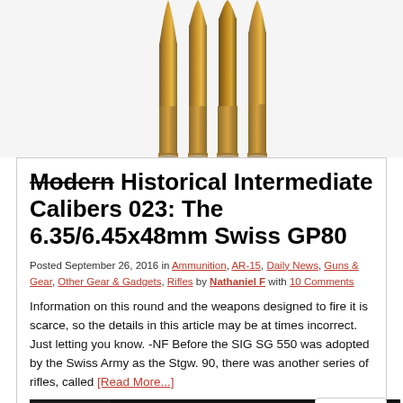[Figure (photo): Four rifle cartridges/bullets of varying sizes standing upright against a white background]
Modern Historical Intermediate Calibers 023: The 6.35/6.45x48mm Swiss GP80
Posted September 26, 2016 in Ammunition, AR-15, Daily News, Guns & Gear, Other Gear & Gadgets, Rifles by Nathaniel F with 10 Comments
Information on this round and the weapons designed to fire it is scarce, so the details in this article may be at times incorrect. Just letting you know. -NF Before the SIG SG 550 was adopted by the Swiss Army as the Stgw. 90, there was another series of rifles, called [Read More...]
[Figure (photo): Advertisement banner for Franklin Armory with a shooter image and BFS logo]